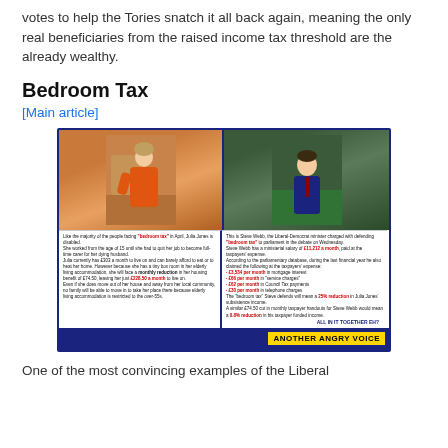votes to help the Tories snatch it all back again, meaning the only real beneficiaries from the raised income tax threshold are the already wealthy.
Bedroom Tax
[Main article]
[Figure (infographic): Infographic comparing Julia Jones, a disabled woman facing the bedroom tax, with Steve Webb, the Liberal-Democrat minister defending the bedroom tax. Left panel shows a woman in orange sitting on a bed; right panel shows a man in parliament. Text panels below describe Julia's situation and Steve Webb's ministerial salary and expenses. Footer reads 'ANOTHER ANGRY VOICE' on a yellow bar over a dark blue background.]
One of the most convincing examples of the Liberal